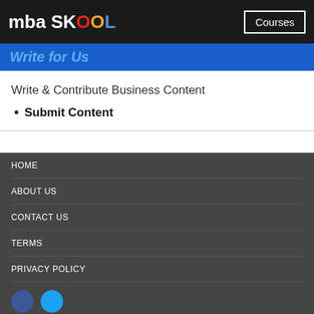mba SKOOL | Courses
Write for Us
Write & Contribute Business Content
Submit Content
HOME
ABOUT US
CONTACT US
TERMS
PRIVACY POLICY
CONTRIBUTE CONTENT
COLLEGES
MEDIA